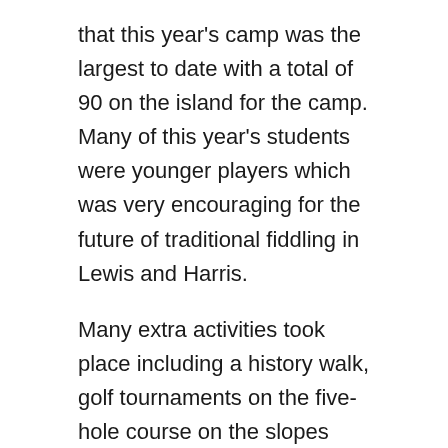that this year's camp was the largest to date with a total of 90 on the island for the camp. Many of this year's students were younger players which was very encouraging for the future of traditional fiddling in Lewis and Harris.
Many extra activities took place including a history walk, golf tournaments on the five-hole course on the slopes behind the camp village, fishing trips, and the annual football match between the Hebrides v Rest of the World. Participants this year came from Galicia, Spain; Auckland and Christchurch, New Zealand; and Melbourne, Australia as well all regions of the UK.
The tune writing competition this year was won again by Robbie Leask of Shetland. Fiddle guru Charlie